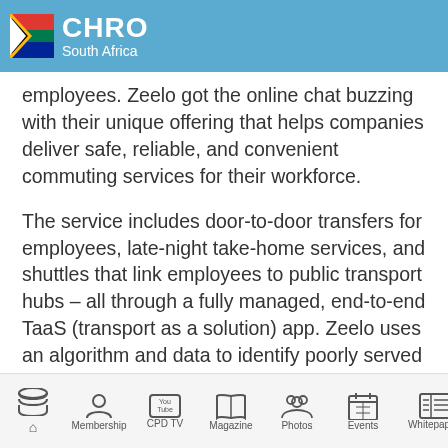CHRO South Africa
employees. Zeelo got the online chat buzzing with their unique offering that helps companies deliver safe, reliable, and convenient commuting services for their workforce.
The service includes door-to-door transfers for employees, late-night take-home services, and shuttles that link employees to public transport hubs – all through a fully managed, end-to-end TaaS (transport as a solution) app. Zeelo uses an algorithm and data to identify poorly served employees and build convenient timetables that fit in
Home | Membership | CPD TV | Magazine | Photos | Events | Whitepapers | Pa